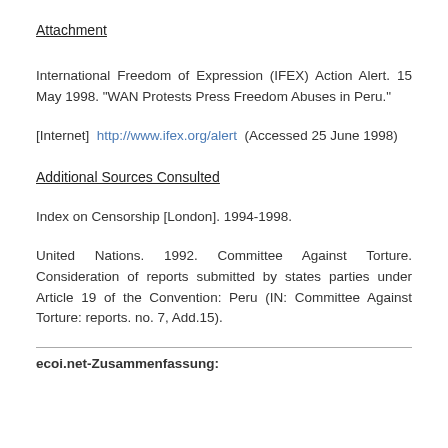Attachment
International Freedom of Expression (IFEX) Action Alert. 15 May 1998. "WAN Protests Press Freedom Abuses in Peru."
[Internet]  http://www.ifex.org/alert  (Accessed 25 June 1998)
Additional Sources Consulted
Index on Censorship [London]. 1994-1998.
United Nations. 1992. Committee Against Torture. Consideration of reports submitted by states parties under Article 19 of the Convention: Peru (IN: Committee Against Torture: reports. no. 7, Add.15).
ecoi.net-Zusammenfassung: